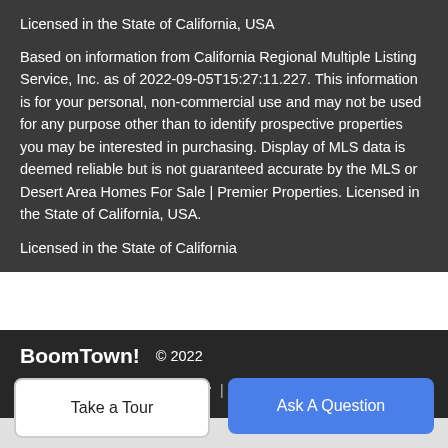Licensed in the State of California, USA
Based on information from California Regional Multiple Listing Service, Inc. as of 2022-09-05T15:27:11.227. This information is for your personal, non-commercial use and may not be used for any purpose other than to identify prospective properties you may be interested in purchasing. Display of MLS data is deemed reliable but is not guaranteed accurate by the MLS or Desert Area Homes For Sale | Premier Properties. Licensed in the State of California, USA.
Licensed in the State of California
BoomTown! © 2022 | Terms of Use | Privacy Policy | Accessibility | DMCA | Listings Sitemap